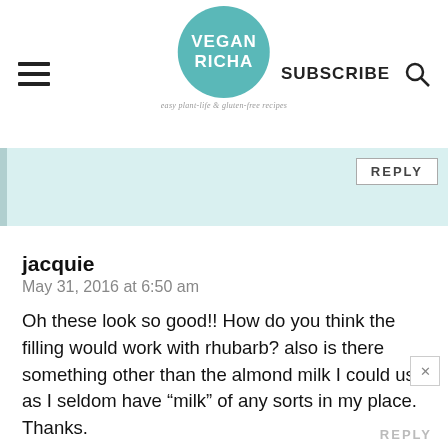VEGAN RICHA | SUBSCRIBE
[Figure (screenshot): Reply text input box with light teal background and a REPLY button]
jacquie
May 31, 2016 at 6:50 am

Oh these look so good!! How do you think the filling would work with rhubarb? also is there something other than the almond milk I could use as I seldom have “milk” of any sorts in my place. Thanks.